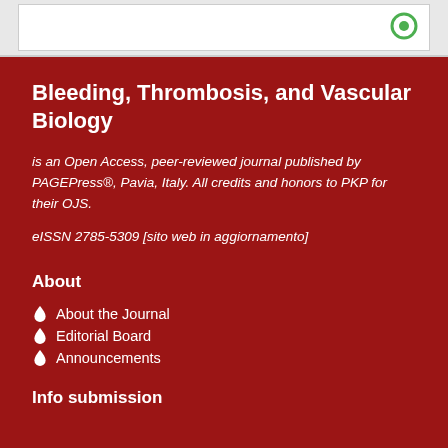Bleeding, Thrombosis, and Vascular Biology
is an Open Access, peer-reviewed journal published by PAGEPress®, Pavia, Italy. All credits and honors to PKP for their OJS.
eISSN 2785-5309 [sito web in aggiornamento]
About
About the Journal
Editorial Board
Announcements
Info submission